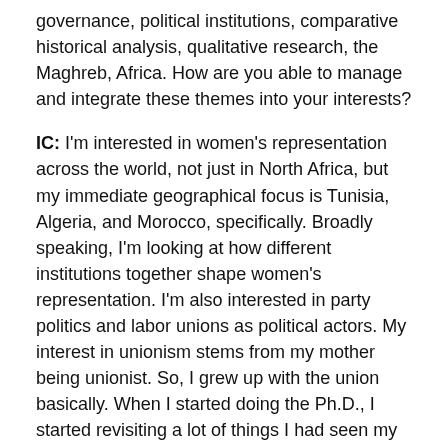governance, political institutions, comparative historical analysis, qualitative research, the Maghreb, Africa. How are you able to manage and integrate these themes into your interests?
IC: I'm interested in women's representation across the world, not just in North Africa, but my immediate geographical focus is Tunisia, Algeria, and Morocco, specifically. Broadly speaking, I'm looking at how different institutions together shape women's representation. I'm also interested in party politics and labor unions as political actors. My interest in unionism stems from my mother being unionist. So, I grew up with the union basically. When I started doing the Ph.D., I started revisiting a lot of things I had seen my mother deal with. As a woman in the union, she also has a completely different experience from the men. So, I